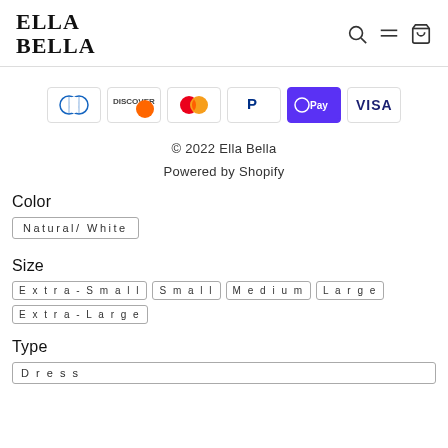ELLA BELLA
[Figure (infographic): Payment method icons: Diners Club, Discover, Mastercard, PayPal, Apple Pay (OPay), Visa]
© 2022 Ella Bella
Powered by Shopify
Color
Natural/ White
Size
Extra-Small  Small  Medium  Large  Extra-Large
Type
Dress